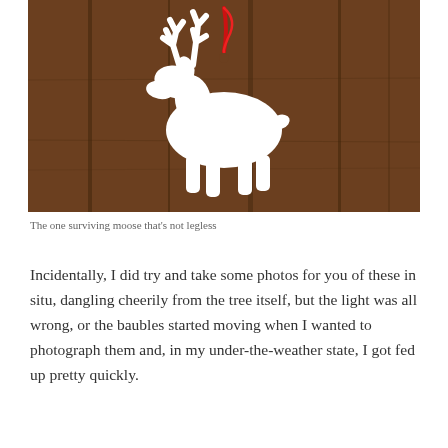[Figure (photo): A white ceramic moose ornament with a red string hanger, lying flat on a dark wood surface with visible wood grain.]
The one surviving moose that's not legless
Incidentally, I did try and take some photos for you of these in situ, dangling cheerily from the tree itself, but the light was all wrong, or the baubles started moving when I wanted to photograph them and, in my under-the-weather state, I got fed up pretty quickly.